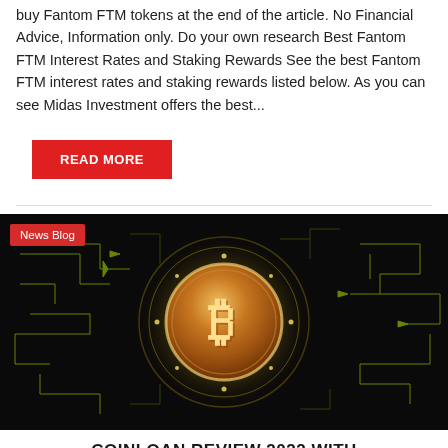buy Fantom FTM tokens at the end of the article. No Financial Advice, Information only. Do your own research Best Fantom FTM Interest Rates and Staking Rewards See the best Fantom FTM interest rates and staking rewards listed below. As you can see Midas Investment offers the best...
READ MORE
[Figure (photo): Bitcoin gold coin glowing with yellow light on a dark black background with circuit board pattern lines in yellow-green, showing a blockchain/cryptocurrency technology concept. Has a 'News Blog' badge in the top left corner.]
COINLOAN REVIEW 2022 WITH